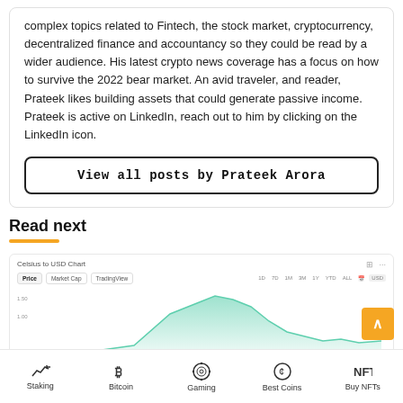complex topics related to Fintech, the stock market, cryptocurrency, decentralized finance and accountancy so they could be read by a wider audience. His latest crypto news coverage has a focus on how to survive the 2022 bear market. An avid traveler, and reader, Prateek likes building assets that could generate passive income. Prateek is active on LinkedIn, reach out to him by clicking on the LinkedIn icon.
View all posts by Prateek Arora
Read next
[Figure (continuous-plot): Celsius to USD Chart screenshot showing a price/market cap/TradingView chart with a green area chart line. Chart tabs include Price, Market Cap, TradingView, and time intervals 1D, 7D, 1M, 3M, 1Y, YTD, ALL with currency selector USD.]